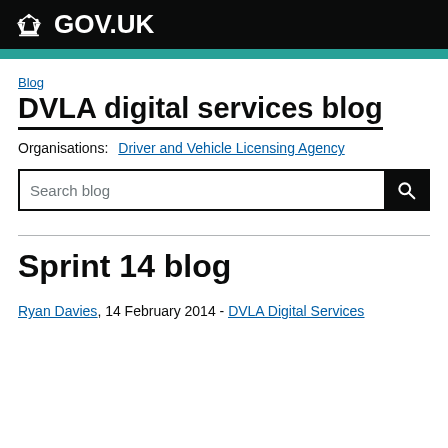GOV.UK
DVLA digital services blog
Blog
Organisations: Driver and Vehicle Licensing Agency
Search blog
Sprint 14 blog
Ryan Davies, 14 February 2014 - DVLA Digital Services